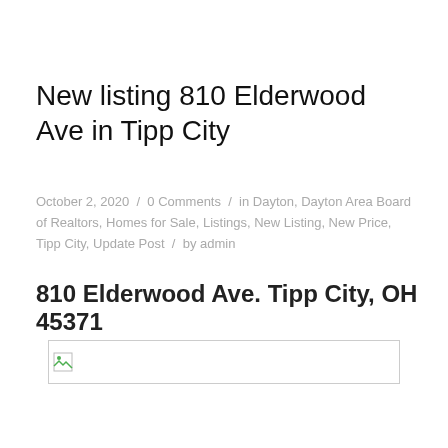New listing 810 Elderwood Ave in Tipp City
October 2, 2020 / 0 Comments / in Dayton, Dayton Area Board of Realtors, Homes for Sale, Listings, New Listing, New Price, Tipp City, Update Post / by admin
810 Elderwood Ave. Tipp City, OH 45371
[Figure (photo): Broken/placeholder image thumbnail for property listing]